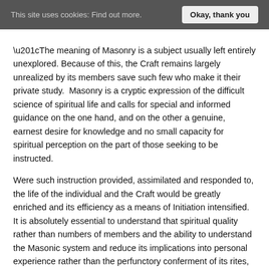This site uses cookies: Find out more.  Okay, thank you
“The meaning of Masonry is a subject usually left entirely unexplored. Because of this, the Craft remains largely unrealized by its members save such few who make it their private study.  Masonry is a cryptic expression of the difficult science of spiritual life and calls for special and informed guidance on the one hand, and on the other a genuine, earnest desire for knowledge and no small capacity for spiritual perception on the part of those seeking to be instructed.
Were such instruction provided, assimilated and responded to, the life of the individual and the Craft would be greatly enriched and its efficiency as a means of Initiation intensified.  It is absolutely essential to understand that spiritual quality rather than numbers of members and the ability to understand the Masonic system and reduce its implications into personal experience rather than the perfunctory conferment of its rites, is crucial if the Craft is to survive and if we are ever to continue to grow on our own respective journeys.
It must be remembered that the lodge is not a business, but that our business is the lodge; it is built from that which we provide.  And so the fruits of our labors, good and bad, will determine how individual